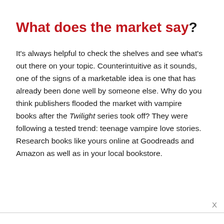What does the market say?
It's always helpful to check the shelves and see what's out there on your topic. Counterintuitive as it sounds, one of the signs of a marketable idea is one that has already been done well by someone else. Why do you think publishers flooded the market with vampire books after the Twilight series took off? They were following a tested trend: teenage vampire love stories. Research books like yours online at Goodreads and Amazon as well as in your local bookstore.